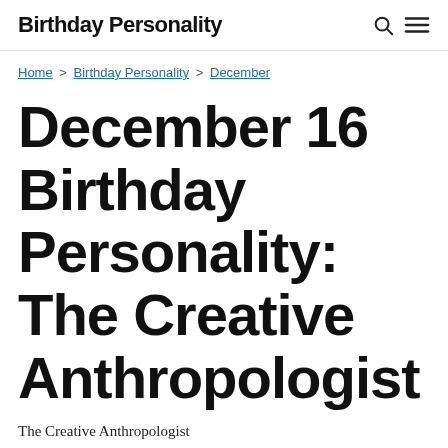Birthday Personality
Home > Birthday Personality > December
December 16 Birthday Personality: The Creative Anthropologist
The Creative Anthropologist